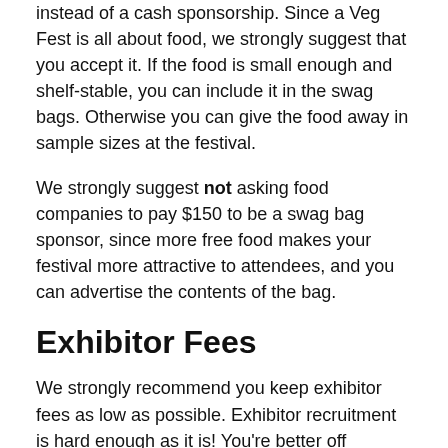instead of a cash sponsorship. Since a Veg Fest is all about food, we strongly suggest that you accept it. If the food is small enough and shelf-stable, you can include it in the swag bags. Otherwise you can give the food away in sample sizes at the festival.
We strongly suggest not asking food companies to pay $150 to be a swag bag sponsor, since more free food makes your festival more attractive to attendees, and you can advertise the contents of the bag.
Exhibitor Fees
We strongly recommend you keep exhibitor fees as low as possible. Exhibitor recruitment is hard enough as it is! You're better off lowering the barrier to entry so you can get as many exhibitors as possible. This is doubly true for food vendors, who can be hard to recruit.
We also recommend you avoid the temptation to charge food vendors a very high rate or ask for a portion of their profits. While food vendors may potentially sell a few